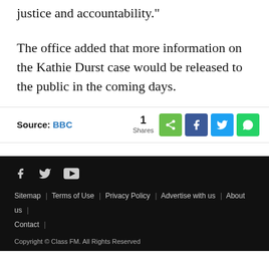justice and accountability."
The office added that more information on the Kathie Durst case would be released to the public in the coming days.
Source: BBC | 1 Shares [share buttons]
f | Twitter | YouTube
Sitemap | Terms of Use | Privacy Policy | Advertise with us | About us | Contact |
Copyright © Class FM. All Rights Reserved